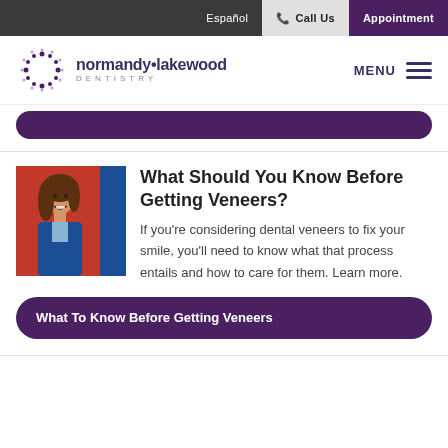Español | Call Us | Appointment
[Figure (logo): Normandy Lakewood Dentistry logo with sunburst icon and text]
[Figure (photo): Young woman smiling in front of red-orange background wearing a blue jacket]
What Should You Know Before Getting Veneers?
If you're considering dental veneers to fix your smile, you'll need to know what that process entails and how to care for them. Learn more.
What To Know Before Getting Veneers